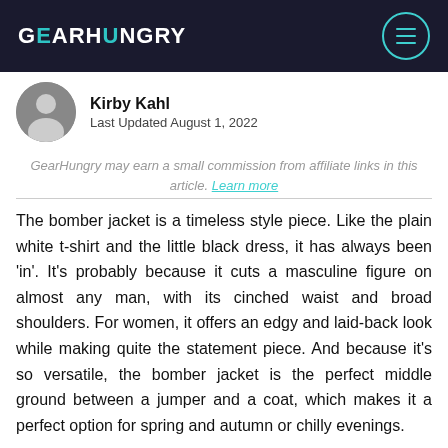GEARHUNGRY
Kirby Kahl
Last Updated August 1, 2022
GearHungry may earn a small commission from affiliate links in this article. Learn more
The bomber jacket is a timeless style piece. Like the plain white t-shirt and the little black dress, it has always been 'in'. It's probably because it cuts a masculine figure on almost any man, with its cinched waist and broad shoulders. For women, it offers an edgy and laid-back look while making quite the statement piece. And because it's so versatile, the bomber jacket is the perfect middle ground between a jumper and a coat, which makes it a perfect option for spring and autumn or chilly evenings.